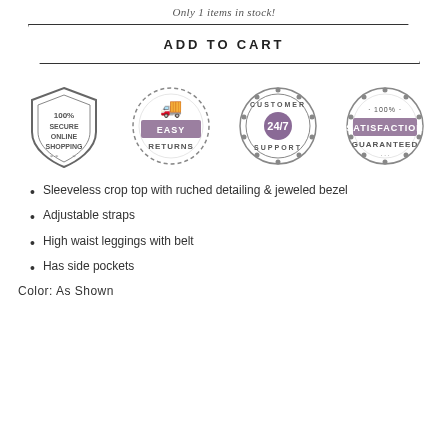Only 1 items in stock!
ADD TO CART
[Figure (infographic): Four trust/badge icons: 100% Secure Online Shopping (shield), Easy Returns (circle with truck), Customer 24/7 Support (gear circle), 100% Satisfaction Guaranteed (circle badge)]
Sleeveless crop top with ruched detailing & jeweled bezel
Adjustable straps
High waist leggings with belt
Has side pockets
Color: As Shown